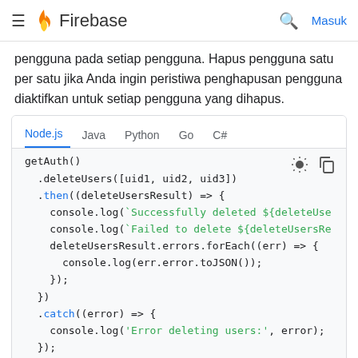≡ 🔥 Firebase   🔍  Masuk
pengguna pada setiap pengguna. Hapus pengguna satu per satu jika Anda ingin peristiwa penghapusan pengguna diaktifkan untuk setiap pengguna yang dihapus.
[Figure (screenshot): Code block with tab bar showing Node.js (active), Java, Python, Go, C# tabs. Code shows getAuth().deleteUsers([uid1, uid2, uid3]).then((deleteUsersResult) => { console.log(`Successfully deleted ${deleteUse...`); console.log(`Failed to delete ${deleteUsersRe...`); deleteUsersResult.errors.forEach((err) => { console.log(err.error.toJSON()); }); }).catch((error) => { console.log('Error deleting users:', error); });]